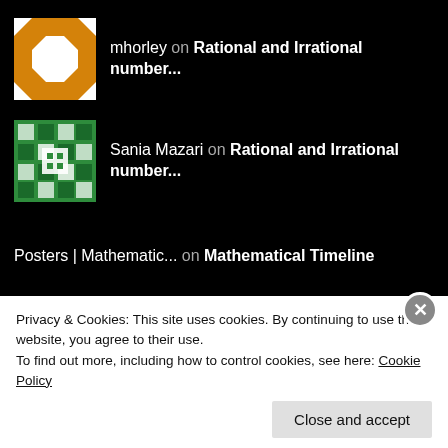mhorley on Rational and Irrational number...
Sania Mazari on Rational and Irrational number...
Posters | Mathematic... on Mathematical Timeline
mhorley on Some principles on classroom r...
FOLLOW ME ON TWITTER
Privacy & Cookies: This site uses cookies. By continuing to use this website, you agree to their use.
To find out more, including how to control cookies, see here: Cookie Policy
Close and accept